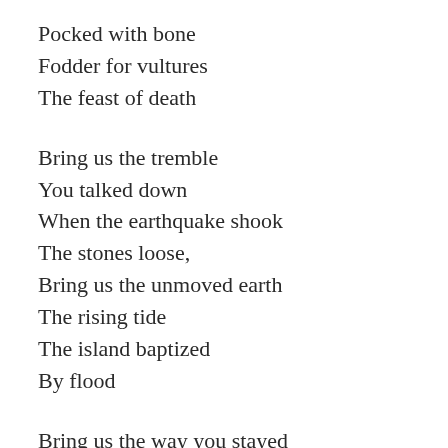Pocked with bone
Fodder for vultures
The feast of death
Bring us the tremble
You talked down
When the earthquake shook
The stones loose,
Bring us the unmoved earth
The rising tide
The island baptized
By flood
Bring us the way you stayed
How you know your body
Well enough to keep it.
How did you keep it?
So many did not.